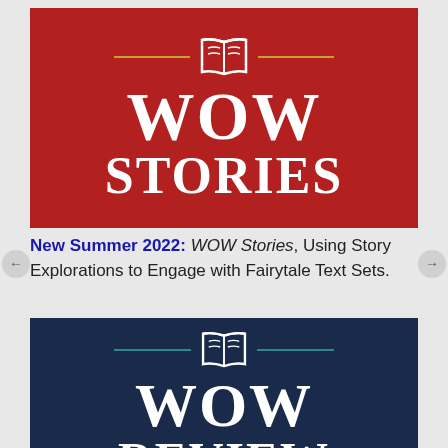[Figure (logo): WOW Stories logo on red background with open book icon, gold horizontal lines, white text reading WOW STORIES]
New Summer 2022: WOW Stories, Using Story Explorations to Engage with Fairytale Text Sets.
[Figure (logo): WOW Review logo on navy background with open book icon, teal horizontal lines, white text reading WOW REVIEW (partially visible)]